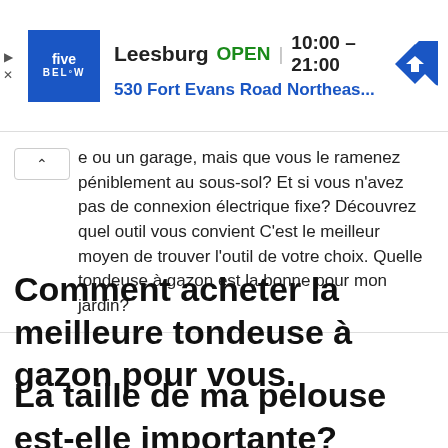[Figure (screenshot): Five Below store advertisement banner showing logo, Leesburg location, OPEN status, hours 10:00–21:00, address 530 Fort Evans Road Northeas…, and navigation arrow icon]
e ou un garage, mais que vous le ramenez péniblement au sous-sol? Et si vous n'avez pas de connexion électrique fixe? Découvrez quel outil vous convient C'est le meilleur moyen de trouver l'outil de votre choix. Quelle tondeuse à gazon est la bonne pour mon jardin?
Comment acheter la meilleure tondeuse à gazon pour vous.
La taille de ma pelouse est-elle importante?